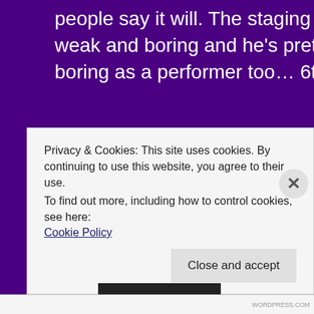people say it will. The staging is weak and boring and he's pretty boring as a performer too… 6th.
Poland
[Figure (other): Broken image placeholder bar with small green-tinted icon on purple background]
Privacy & Cookies: This site uses cookies. By continuing to use this website, you agree to their use.
To find out more, including how to control cookies, see here:
Cookie Policy
Close and accept